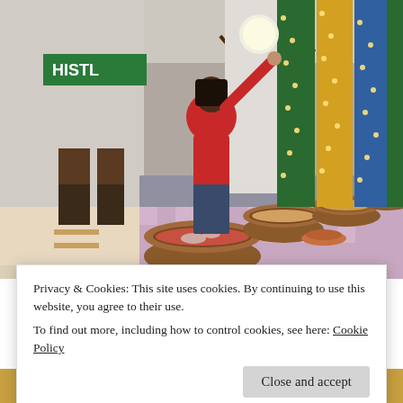[Figure (photo): Photo of a restaurant buffet spread with clay pots of food arranged on a long table covered with a checkered cloth. Colorful fabric drapes (green, yellow, blue) with fairy lights line the wall in the background. A woman in a red top is reaching toward a decorative tree in the middle of the table. The setting appears to be a festive or cultural food event. Part of another food photo is visible at the bottom.]
Privacy & Cookies: This site uses cookies. By continuing to use this website, you agree to their use.
To find out more, including how to control cookies, see here: Cookie Policy